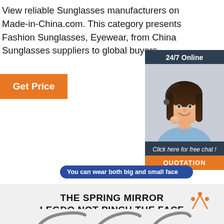View reliable Sunglasses manufacturers on Made-in-China.com. This category presents Fashion Sunglasses, Eyewear, from China Sunglasses suppliers to global buyers.
[Figure (other): Orange 'Get Price' button]
[Figure (photo): Customer service woman with headset, '24/7 Online' banner, 'Click here for free chat!' text, and 'QUOTATION' orange button in dark blue sidebar]
You can wear both big and small face
THE SPRING MIRROR LEGDO NOT PINCH THE FACE
[Figure (logo): Orange and dark 'TOP' logo with dots]
[Figure (photo): Sunglasses arms/temples illustration at bottom]